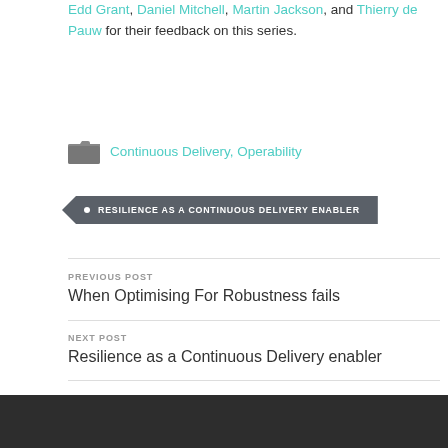Edd Grant, Daniel Mitchell, Martin Jackson, and Thierry de Pauw for their feedback on this series.
Continuous Delivery, Operability
RESILIENCE AS A CONTINUOUS DELIVERY ENABLER
PREVIOUS POST
When Optimising For Robustness fails
NEXT POST
Resilience as a Continuous Delivery enabler